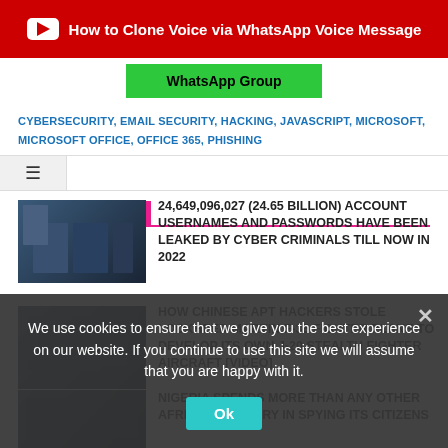[Figure (screenshot): YouTube banner with red background showing 'How to Clone Voice via WhatsApp Voice Message']
[Figure (screenshot): Green WhatsApp Group button]
CYBERSECURITY, EMAIL SECURITY, HACKING, JAVASCRIPT, MICROSOFT, MICROSOFT OFFICE, OFFICE 365, PHISHING
[Figure (screenshot): Navigation bar with hamburger menu icon]
LATEST VIDEOS
[Figure (photo): Thumbnail of person in front of monitors]
24,649,096,027 (24.65 BILLION) ACCOUNT USERNAMES AND PASSWORDS HAVE BEEN LEAKED BY CYBER CRIMINALS TILL NOW IN 2022
[Figure (photo): Thumbnail of aircraft]
HOW CHINESE APT HACKERS STOLE LOCKHEED MARTIN F-35 FIGHTER PLANE TO DEVELOP ITS OWN J-20 STEALTH FIGHTER AIRCRAFT [VIDEO]
[Figure (photo): Thumbnail of third article]
NIGERIA SPENDS MORE THAN ANY OTHER AFRICAN COUNTRY IN SPYING ITS CITIZENS
We use cookies to ensure that we give you the best experience on our website. If you continue to use this site we will assume that you are happy with it.